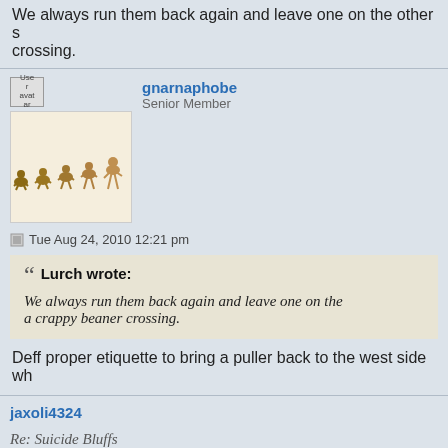We always run them back again and leave one on the other s crossing.
gnarnaphobe
Senior Member
[Figure (photo): User avatar showing evolution of man silhouette sequence]
Tue Aug 24, 2010 12:21 pm
Lurch wrote:
We always run them back again and leave one on the a crappy beaner crossing.
Deff proper etiquette to bring a puller back to the west side wh
jaxoli4324
Re: Suicide Bluffs